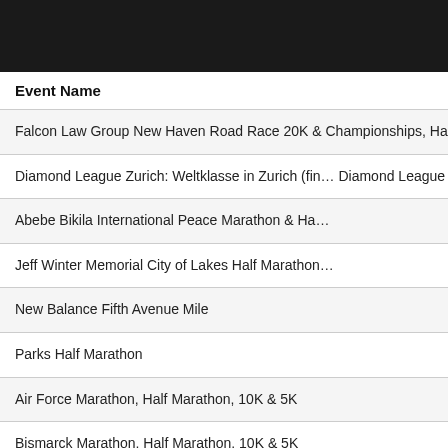| Event Name |
| --- |
| Falcon Law Group New Haven Road Race 20K & Championships, Half Marathon, & 5K |
| Diamond League Zurich: Weltklasse in Zurich (final Diamond League 2022 series) |
| Abebe Bikila International Peace Marathon & Ha… |
| Jeff Winter Memorial City of Lakes Half Marathon… |
| New Balance Fifth Avenue Mile |
| Parks Half Marathon |
| Air Force Marathon, Half Marathon, 10K & 5K |
| Bismarck Marathon, Half Marathon, 10K & 5K |
| Great Cow Harbor 10K & 2022 USATF 10K Cha… |